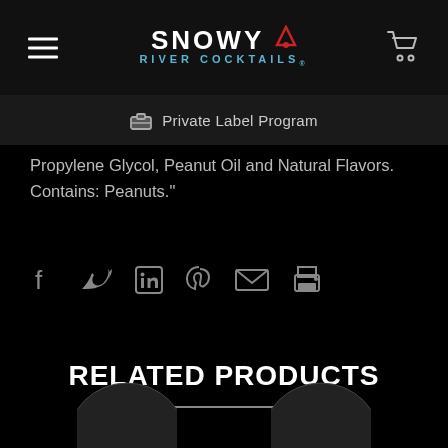SNOWY RIVER COCKTAILS
Private Label Program
Propylene Glycol, Peanut Oil and Natural Flavors. Contains: Peanuts."
[Figure (other): Social sharing icons: Facebook, Twitter, LinkedIn, Pinterest, Email, Print]
RELATED PRODUCTS
[Figure (other): Partial circular product images at bottom of page]